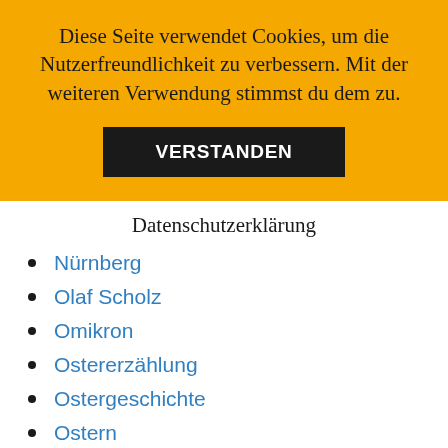Diese Seite verwendet Cookies, um die Nutzerfreundlichkeit zu verbessern. Mit der weiteren Verwendung stimmst du dem zu.
VERSTANDEN
Datenschutzerklärung
Nürnberg
Olaf Scholz
Omikron
Ostererzählung
Ostergeschichte
Ostern
Pandemie
Paris Montmartre
Parteien